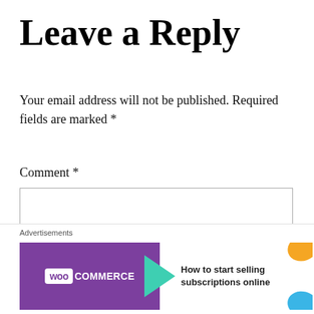Leave a Reply
Your email address will not be published. Required fields are marked *
Comment *
[Figure (screenshot): Empty comment text area input box with border]
[Figure (other): Close/dismiss button (circled X) at bottom right of comment area]
Advertisements
[Figure (other): WooCommerce advertisement banner: purple left panel with WooCommerce logo and green arrow, white right panel with orange and blue decorative shapes, text 'How to start selling subscriptions online']